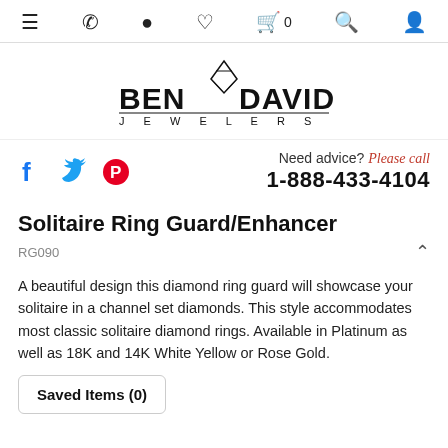Navigation bar with menu, phone, location, heart, cart (0), search, and user icons
[Figure (logo): Ben David Jewelers logo with diamond graphic above bold text BEN DAVID and JEWELERS below in spaced lettering]
[Figure (infographic): Social media icons: Facebook (f), Twitter (bird), Pinterest (P)]
Need advice? Please call 1-888-433-4104
Solitaire Ring Guard/Enhancer
RG090
A beautiful design this diamond ring guard will showcase your solitaire in a channel set diamonds. This style accommodates most classic solitaire diamond rings. Available in Platinum as well as 18K and 14K White Yellow or Rose Gold.
Saved Items (0)